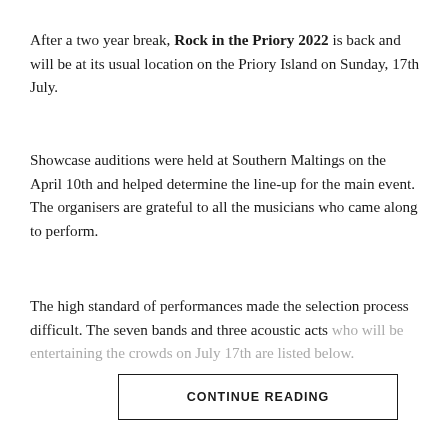After a two year break, Rock in the Priory 2022 is back and will be at its usual location on the Priory Island on Sunday, 17th July.
Showcase auditions were held at Southern Maltings on the April 10th and helped determine the line-up for the main event. The organisers are grateful to all the musicians who came along to perform.
The high standard of performances made the selection process difficult. The seven bands and three acoustic acts who will be entertaining the crowds on July 17th are listed below.
CONTINUE READING